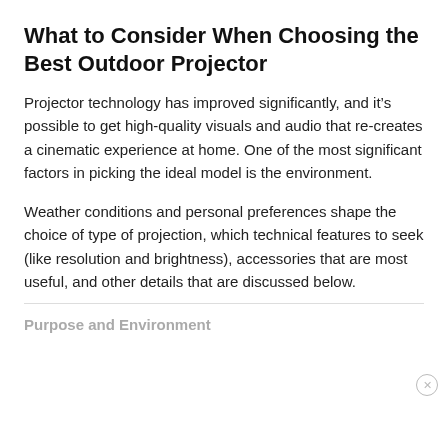What to Consider When Choosing the Best Outdoor Projector
Projector technology has improved significantly, and it’s possible to get high-quality visuals and audio that re-creates a cinematic experience at home. One of the most significant factors in picking the ideal model is the environment.
Weather conditions and personal preferences shape the choice of type of projection, which technical features to seek (like resolution and brightness), accessories that are most useful, and other details that are discussed below.
Purpose and Environment